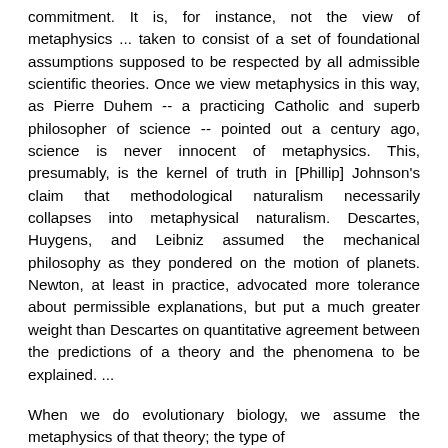commitment. It is, for instance, not the view of metaphysics ... taken to consist of a set of foundational assumptions supposed to be respected by all admissible scientific theories. Once we view metaphysics in this way, as Pierre Duhem -- a practicing Catholic and superb philosopher of science -- pointed out a century ago, science is never innocent of metaphysics. This, presumably, is the kernel of truth in [Phillip] Johnson's claim that methodological naturalism necessarily collapses into metaphysical naturalism. Descartes, Huygens, and Leibniz assumed the mechanical philosophy as they pondered on the motion of planets. Newton, at least in practice, advocated more tolerance about permissible explanations, but put a much greater weight than Descartes on quantitative agreement between the predictions of a theory and the phenomena to be explained. ...
When we do evolutionary biology, we assume the metaphysics of that theory; the type of